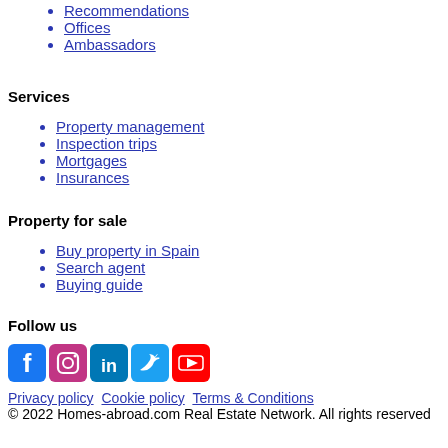Recommendations
Offices
Ambassadors
Services
Property management
Inspection trips
Mortgages
Insurances
Property for sale
Buy property in Spain
Search agent
Buying guide
Follow us
[Figure (other): Social media icons: Facebook, Instagram, LinkedIn, Twitter, YouTube]
Privacy policy   Cookie policy   Terms & Conditions
© 2022 Homes-abroad.com Real Estate Network. All rights reserved